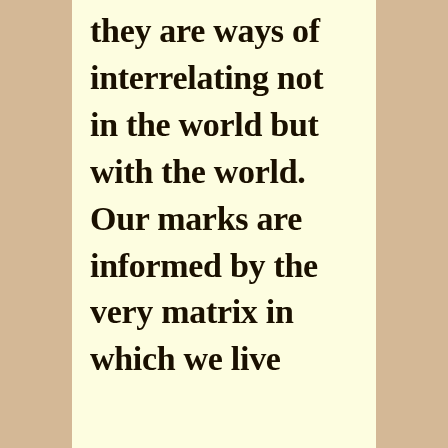they are ways of interrelating not in the world but with the world. Our marks are informed by the very matrix in which we live